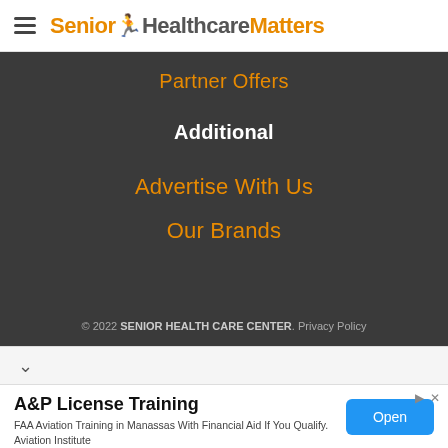Senior Healthcare Matters
Partner Offers
Additional
Advertise With Us
Our Brands
© 2022 SENIOR HEALTH CARE CENTER. Privacy Policy
A&P License Training
FAA Aviation Training in Manassas With Financial Aid If You Qualify. Aviation Institute